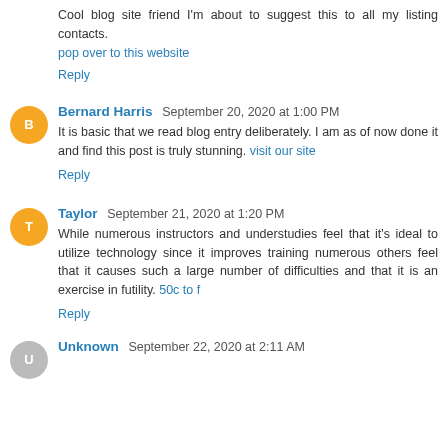Cool blog site friend I'm about to suggest this to all my listing contacts.
pop over to this website
Reply
Bernard Harris  September 20, 2020 at 1:00 PM
It is basic that we read blog entry deliberately. I am as of now done it and find this post is truly stunning. visit our site
Reply
Taylor  September 21, 2020 at 1:20 PM
While numerous instructors and understudies feel that it's ideal to utilize technology since it improves training numerous others feel that it causes such a large number of difficulties and that it is an exercise in futility. 50c to f
Reply
Unknown  September 22, 2020 at 2:11 AM